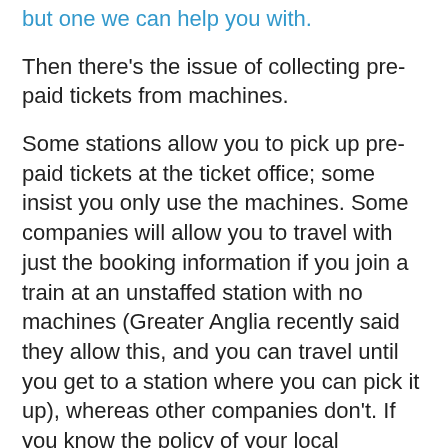but one we can help you with.
Then there’s the issue of collecting pre-paid tickets from machines.
Some stations allow you to pick up pre-paid tickets at the ticket office; some insist you only use the machines. Some companies will allow you to travel with just the booking information if you join a train at an unstaffed station with no machines (Greater Anglia recently said they allow this, and you can travel until you get to a station where you can pick it up), whereas other companies don’t. If you know the policy of your local operator, please tell us in a comment below. It’d be great to compile a definitive list!
Unfortunately, for many automated station machines...